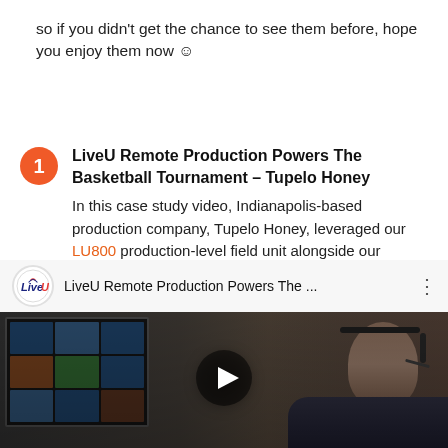so if you didn't get the chance to see them before, hope you enjoy them now ☺
1. LiveU Remote Production Powers The Basketball Tournament – Tupelo Honey
In this case study video, Indianapolis-based production company, Tupelo Honey, leveraged our LU800 production-level field unit alongside our Remote Production solution to cover The Basketball Tournament (TBT) broadcasting on ESPN.
[Figure (screenshot): YouTube video embed showing 'LiveU Remote Production Powers The ...' with LiveU logo, video title bar, and thumbnail of a person working at broadcast monitors with a play button overlay.]